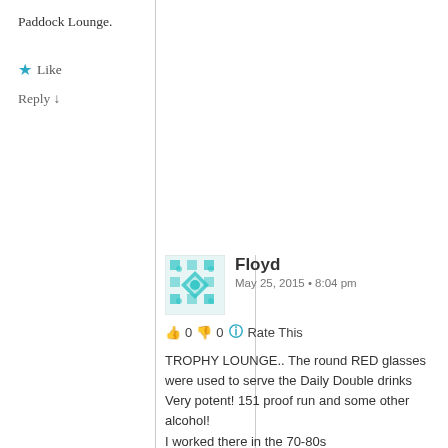Paddock Lounge.
★ Like
Reply ↓
Floyd
May 25, 2015 • 8:04 pm
👍 0 👎 0 ℹ Rate This
TROPHY LOUNGE.. The round RED glasses were used to serve the Daily Double drinks Very potent! 151 proof run and some other alcohol!
I worked there in the 70-80s

NO!@!! Trophy Lounge with Mrs Brown's horse racing trophies on the walls
★ Liked by 1 person
Reply ↓